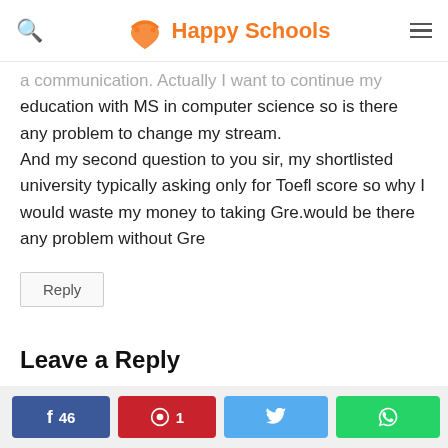Happy Schools
a communication. Actually I want to continue my education with MS in computer science so is there any problem to change my stream.
And my second question to you sir, my shortlisted university typically asking only for Toefl score so why I would waste my money to taking Gre.would be there any problem without Gre
Reply
Leave a Reply
f 46  Ⓟ 1  🐦  ✆  < 47 SHARES